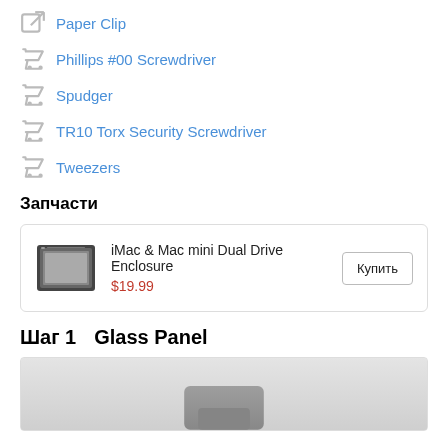Paper Clip
Phillips #00 Screwdriver
Spudger
TR10 Torx Security Screwdriver
Tweezers
Запчасти
| Image | Name | Price | Action |
| --- | --- | --- | --- |
| [image] | iMac & Mac mini Dual Drive Enclosure | $19.99 | Купить |
Шаг 1    Glass Panel
[Figure (photo): Bottom portion of an iMac showing the stand, light gray background]